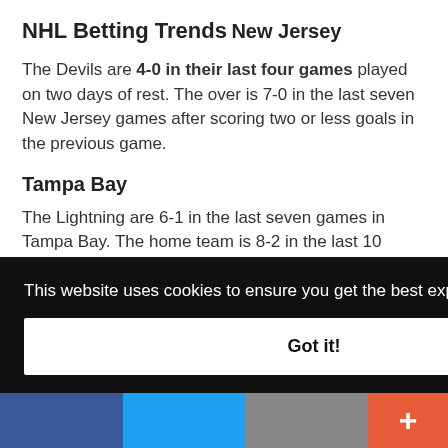NHL Betting Trends
New Jersey
The Devils are 4-0 in their last four games played on two days of rest. The over is 7-0 in the last seven New Jersey games after scoring two or less goals in the previous game.
Tampa Bay
The Lightning are 6-1 in the last seven games in Tampa Bay. The home team is 8-2 in the last 10 meetings.
Prediction:
[Figure (screenshot): Blue banner image partially visible below Prediction label]
This website uses cookies to ensure you get the best experience on our website.
Got it!